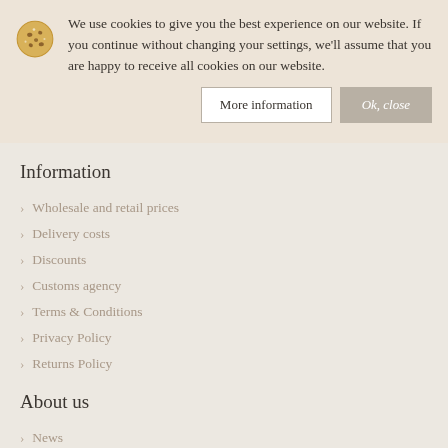We use cookies to give you the best experience on our website. If you continue without changing your settings, we'll assume that you are happy to receive all cookies on our website.
More information | Ok, close
Information
Wholesale and retail prices
Delivery costs
Discounts
Customs agency
Terms & Conditions
Privacy Policy
Returns Policy
About us
News